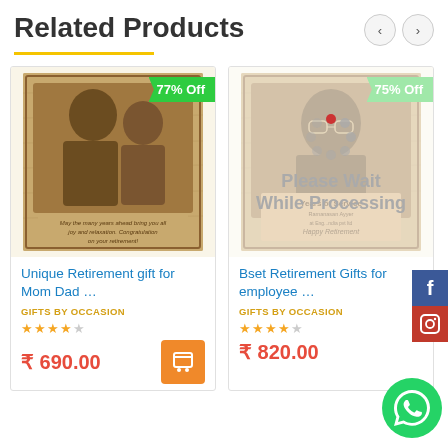Related Products
[Figure (photo): Engraved wood photo of couple (retirement gift for Mom Dad), with 77% Off badge]
Unique Retirement gift for Mom Dad …
GIFTS BY OCCASION
₹ 690.00
[Figure (photo): Engraved wood plaque of man (retirement gift for employee), with 75% Off badge and loading spinner overlay saying Please Wait While Processing]
Bset Retirement Gifts for employee …
GIFTS BY OCCASION
₹ 820.00